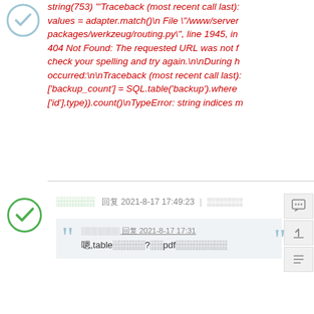string(753) "'Traceback (most recent call last): values = adapter.match()\n File \"/www/server packages/werkzeug/routing.py\", line 1945, in 404 Not Found: The requested URL was not f check your spelling and try again.\n\nDuring h occurred:\n\nTraceback (most recent call last): ['backup_count'] = SQL.table('backup').where ['id'],type)).count()\nTypeError: string indices m
░░░░░░  回复 2021-8-17 17:49:23  |  ░░░░░░
░░░░░░░ 回复 2021-8-17 17:31  嗯,table░░░░░?░░pdf░░░░░░░░
░░░░░░░░,░░░░░░░░░░░░?